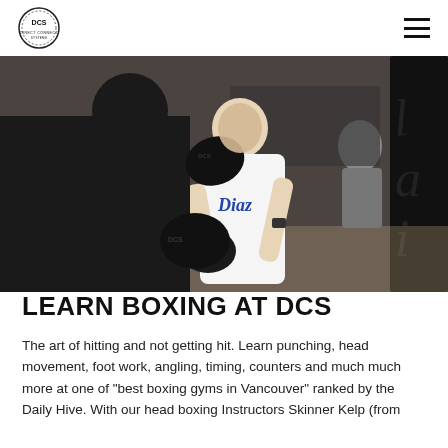DCS logo and navigation menu
[Figure (photo): Boxing training session at DCS gym. A man in a white t-shirt with blue Diaz logo holds focus mitts while a student in a black shirt punches them. Background shows other gym members training with punching bags. DCS branded equipment visible.]
LEARN BOXING AT DCS
The art of hitting and not getting hit. Learn punching, head movement, foot work, angling, timing, counters and much much more at one of "best boxing gyms in Vancouver" ranked by the Daily Hive. With our head boxing Instructors Skinner Kelp (from